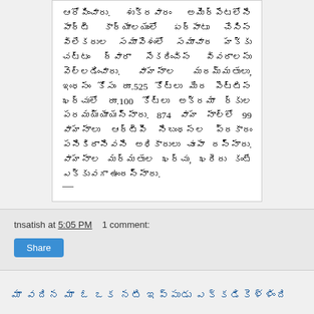[Figure (photo): Newspaper clipping with Telugu language text discussing vehicle maintenance expenditure, RTE regulations, and related government information.]
tnsatish at 5:05 PM    1 comment:
Share
Telugu language headline text for next post